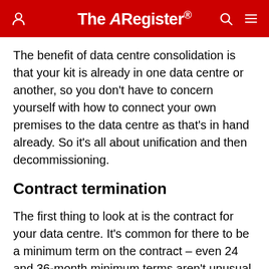The Register
The benefit of data centre consolidation is that your kit is already in one data centre or another, so you don't have to concern yourself with how to connect your own premises to the data centre as that's in hand already. So it's all about unification and then decommissioning.
Contract termination
The first thing to look at is the contract for your data centre. It's common for there to be a minimum term on the contract – even 24 and 36-month minimum terms aren't unusual, because the providers give price incentives for long-term contracts at sign-up time – so check when your minimum term expires and what the